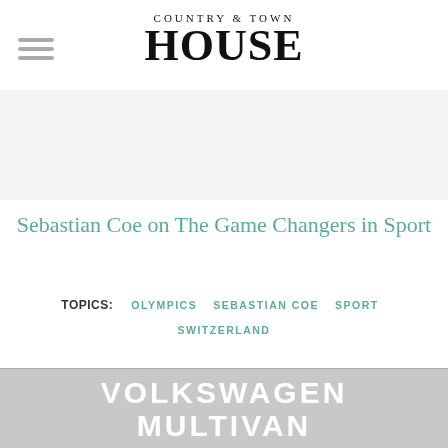COUNTRY & TOWN HOUSE
Sebastian Coe on The Game Changers in Sport
TOPICS: OLYMPICS SEBASTIAN COE SPORT SWITZERLAND
[Figure (other): Volkswagen Multivan advertisement banner at bottom of page]